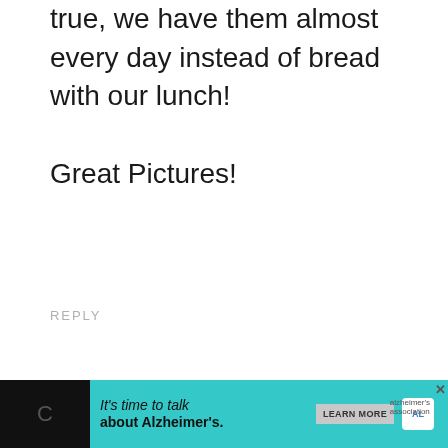true, we have them almost every day instead of bread with our lunch!

Great Pictures!
REPLY
LEAVE A REPLY
Your email address will not be published. Required fields are marked *
[Figure (other): Advertisement banner: 'It's time to talk about Alzheimer's.' with a LEARN MORE button and Alzheimer's Association logo, on a teal background, with a close button (X) on the right.]